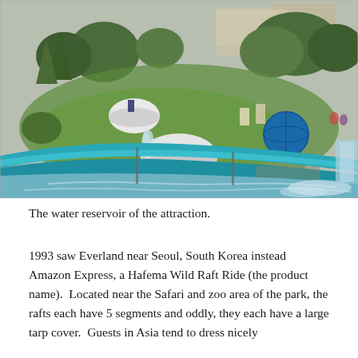[Figure (photo): Outdoor water ride reservoir at Everland theme park near Seoul, South Korea. Turquoise-tiled curved channel with flowing water. In the background: a white dome-shaped sculpture, a blue globe sculpture, green trees and shrubs, fountains, and park buildings. Overcast sky.]
The water reservoir of the attraction.
1993 saw Everland near Seoul, South Korea instead Amazon Express, a Hafema Wild Raft Ride (the product name).  Located near the Safari and zoo area of the park, the rafts each have 5 segments and oddly, they each have a large tarp cover.  Guests in Asia tend to dress nicely